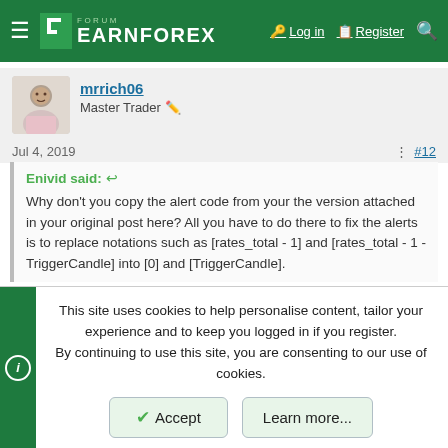FORUM EARNFOREX — Log in | Register
mrrich06
Master Trader
Jul 4, 2019  #12
Enivid said: ↩
Why don't you copy the alert code from your the version attached in your original post here? All you have to do there to fix the alerts is to replace notations such as [rates_total - 1] and [rates_total - 1 - TriggerCandle] into [0] and [TriggerCandle].
This site uses cookies to help personalise content, tailor your experience and to keep you logged in if you register.
By continuing to use this site, you are consenting to our use of cookies.